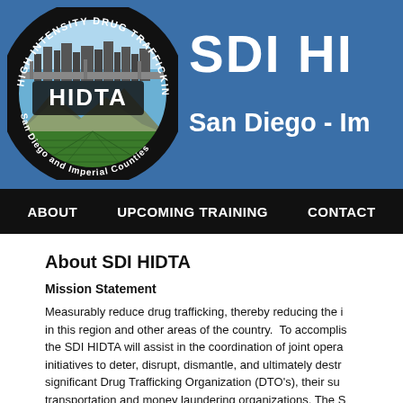[Figure (logo): SDI HIDTA banner header with circular HIDTA logo on blue background. Logo shows city skyline, mountains, and fields with text 'HIGH INTENSITY DRUG TRAFFICKING AREA' and 'San Diego and Imperial Counties'. Header text reads 'SDI HI' (cropped) and 'San Diego - Im' (cropped).]
ABOUT   UPCOMING TRAINING   CONTACT
About SDI HIDTA
Mission Statement
Measurably reduce drug trafficking, thereby reducing the i in this region and other areas of the country. To accompli the SDI HIDTA will assist in the coordination of joint opera initiatives to deter, disrupt, dismantle, and ultimately destr significant Drug Trafficking Organization (DTO's), their su transportation and money laundering organizations. The S emphasize efforts against methamphetamine manufacturin and abuse through innovative enforcement operations an programs utilizing a multi-agency, joint concept of operatio